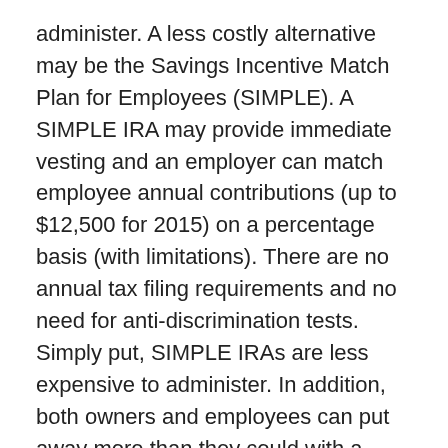administer. A less costly alternative may be the Savings Incentive Match Plan for Employees (SIMPLE). A SIMPLE IRA may provide immediate vesting and an employer can match employee annual contributions (up to $12,500 for 2015) on a percentage basis (with limitations). There are no annual tax filing requirements and no need for anti-discrimination tests. Simply put, SIMPLE IRAs are less expensive to administer. In addition, both owners and employees can put away more than they could with a regular IRA. SEP IRA. The Simplified Employee Pension (SEP) shares similarities with an Individual Retirement Account (IRA) and a 401(k) plan, in that the plan is simple to administer and allows both employers